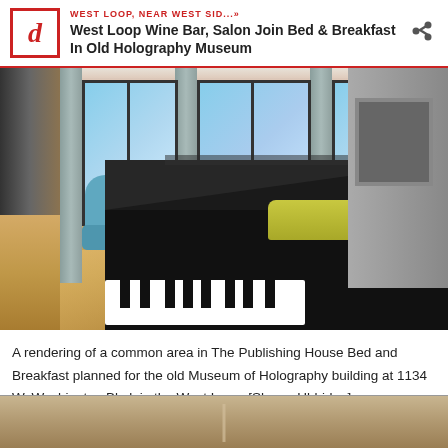WEST LOOP, NEAR WEST SID...» West Loop Wine Bar, Salon Join Bed & Breakfast In Old Holography Museum
[Figure (photo): Interior rendering of a common area in The Publishing House Bed and Breakfast, featuring a grand piano in the foreground, blue armchairs, brick walls, tall windows with gray curtains, and an open loft-style space with wood floors.]
A rendering of a common area in The Publishing House Bed and Breakfast planned for the old Museum of Holography building at 1134 W. Washington Blvd. in the West Loop. [Shawn Uldridge]
[Figure (photo): Partial view of a second interior photo, cropped at the bottom of the page.]